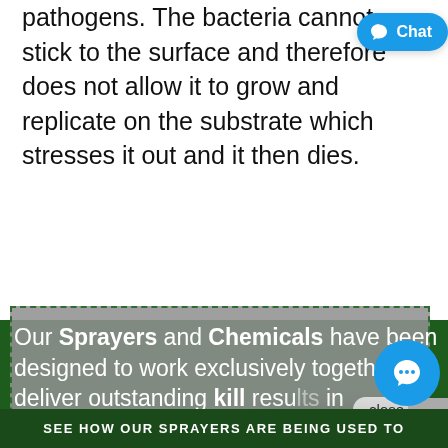pathogens. The bacteria cannot stick to the surface and therefore does not allow it to grow and replicate on the substrate which stresses it out and it then dies.
[Figure (screenshot): A promotional banner with grey dashed border on green background containing white text: 'Our Sprayers and Chemicals have been designed to work exclusively together to deliver outstanding kill results in...' A chat close button overlay and a chat popup with logo icon and text 'Hi there, have a question? Text us here.' are visible. A blue chat circle button is partially visible at bottom right.]
SEE HOW OUR SPRAYERS ARE BEING USED TO